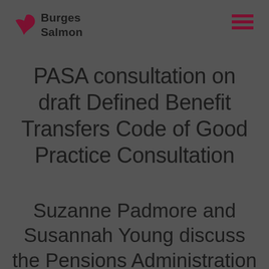Burges Salmon
PASA consultation on draft Defined Benefit Transfers Code of Good Practice Consultation
Suzanne Padmore and Susannah Young discuss the Pensions Administration